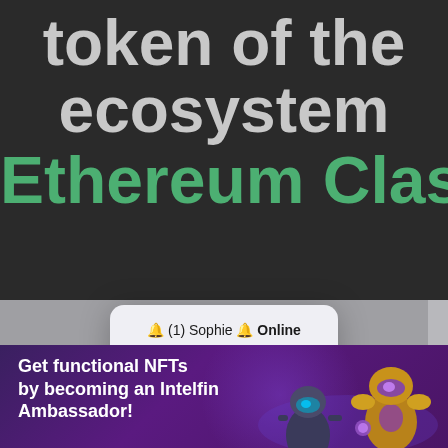token of the ecosystem Ethereum Classic
[Figure (screenshot): iOS-style alert dialog overlay. Title: '🔔 (1) Sophie 🔔 Online'. Message: 'Hey baby.. are you alone? 😈💬'. Buttons: CANCEL and OK]
Get functional NFTs by becoming an Intelfin Ambassador!